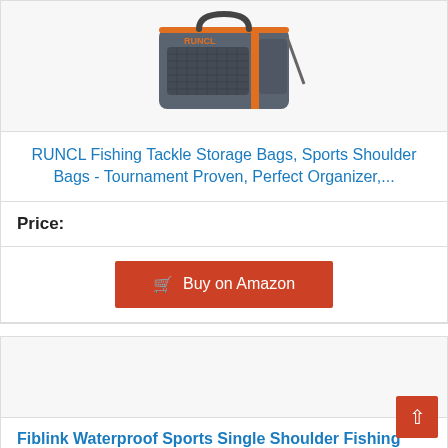[Figure (photo): RUNCL fishing tackle storage bag, grey and orange, shown from front angle]
RUNCL Fishing Tackle Storage Bags, Sports Shoulder Bags - Tournament Proven, Perfect Organizer,...
Price:
Buy on Amazon
[Figure (photo): Second product image area, partially visible]
Fiblink Waterproof Sports Single Shoulder Fishing